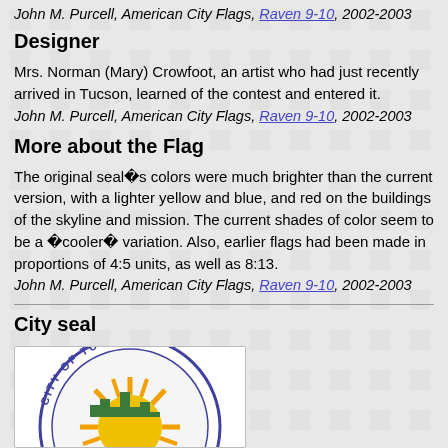John M. Purcell, American City Flags, Raven 9-10, 2002-2003
Designer
Mrs. Norman (Mary) Crowfoot, an artist who had just recently arrived in Tucson, learned of the contest and entered it.
John M. Purcell, American City Flags, Raven 9-10, 2002-2003
More about the Flag
The original seal�s colors were much brighter than the current version, with a lighter yellow and blue, and red on the buildings of the skyline and mission. The current shades of color seem to be a �cooler� variation. Also, earlier flags had been made in proportions of 4:5 units, as well as 8:13.
John M. Purcell, American City Flags, Raven 9-10, 2002-2003
City seal
[Figure (photo): City of Tucson seal showing a sun with rays and a mountain, circular seal with text CITY OF TUCSON around the border]